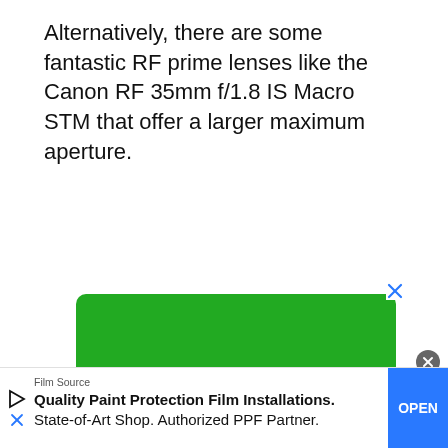Alternatively, there are some fantastic RF prime lenses like the Canon RF 35mm f/1.8 IS Macro STM that offer a larger maximum aperture.
[Figure (screenshot): Green advertisement banner with a search bar interface showing a white search input field with a yellow search button containing a magnifying glass icon. There is an X close button in the top right corner.]
[Figure (screenshot): Bottom advertisement bar for 'Film Source' with text 'Quality Paint Protection Film Installations. State-of-Art Shop. Authorized PPF Partner.' and a blue OPEN button on the right.]